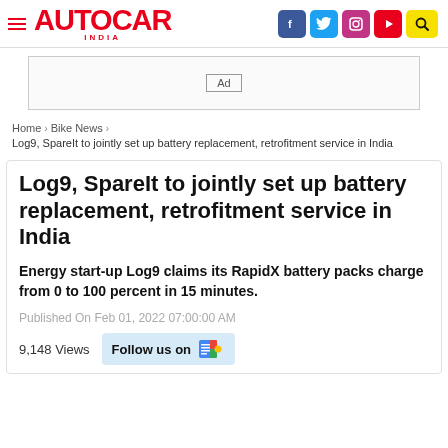AUTOCAR INDIA
[Figure (other): Ad placeholder banner]
Home > Bike News > Log9, SpareIt to jointly set up battery replacement, retrofitment service in India
Log9, SpareIt to jointly set up battery replacement, retrofitment service in India
Energy start-up Log9 claims its RapidX battery packs charge from 0 to 100 percent in 15 minutes.
Published On Feb 01, 2022 07:00:00 AM
9,148 Views  Follow us on